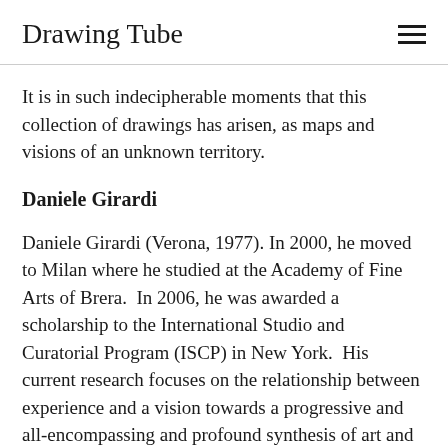Drawing Tube
It is in such indecipherable moments that this collection of drawings has arisen, as maps and visions of an unknown territory.
Daniele Girardi
Daniele Girardi (Verona, 1977). In 2000, he moved to Milan where he studied at the Academy of Fine Arts of Brera.  In 2006, he was awarded a scholarship to the International Studio and Curatorial Program (ISCP) in New York.  His current research focuses on the relationship between experience and a vision towards a progressive and all-encompassing and profound synthesis of art and life.  One of his most recent